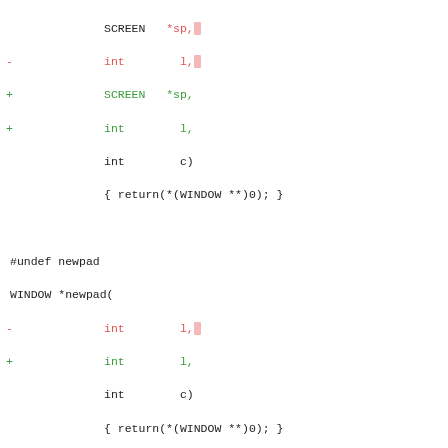Code diff showing changes to SCREEN, newpad, subpad, and prefresh function signatures in C
[Figure (screenshot): Diff of C header file showing removed (red -) and added (green +) function parameter lines for subwin, newpad, subpad, and prefresh functions, with highlighted trailing characters on removed lines]